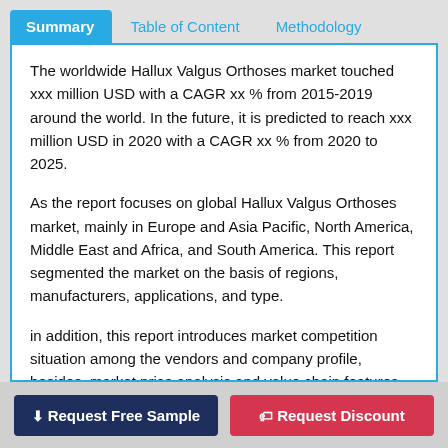Summary  Table of Content  Methodology
The worldwide Hallux Valgus Orthoses market touched xxx million USD with a CAGR xx % from 2015-2019 around the world. In the future, it is predicted to reach xxx million USD in 2020 with a CAGR xx % from 2020 to 2025.
As the report focuses on global Hallux Valgus Orthoses market, mainly in Europe and Asia Pacific, North America, Middle East and Africa, and South America. This report segmented the market on the basis of regions, manufacturers, applications, and type.
in addition, this report introduces market competition situation among the vendors and company profile, besides, market price analysis and value chain features are covered in this report.
Request Free Sample  Request Discount